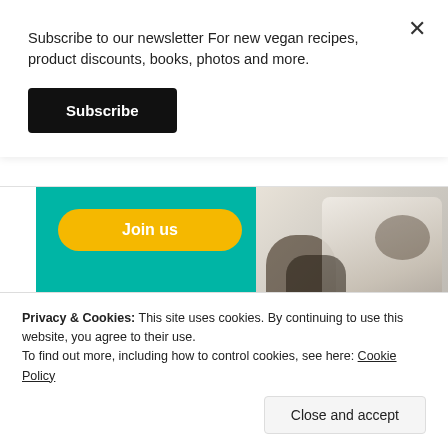Subscribe to our newsletter For new vegan recipes, product discounts, books, photos and more.
Subscribe
[Figure (photo): Advertisement banner with teal/green background showing 'Join us' yellow button and 'Trusted House' logo with a photo of an animal (appears to be a cow or similar) on the right side]
Privacy & Cookies: This site uses cookies. By continuing to use this website, you agree to their use.
To find out more, including how to control cookies, see here: Cookie Policy
Close and accept